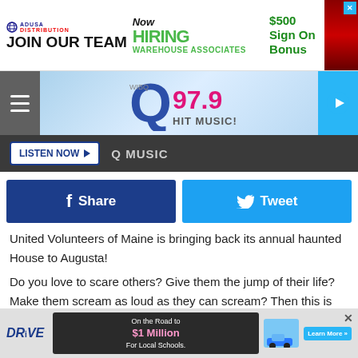[Figure (screenshot): ADUSA Distribution ad banner: JOIN OUR TEAM / Now HIRING WAREHOUSE ASSOCIATES / $500 Sign On Bonus]
[Figure (logo): Q97.9 Hit Music radio station logo with navigation header bar, hamburger menu, and play button]
LISTEN NOW ▶  Q MUSIC
[Figure (infographic): Facebook Share button and Twitter Tweet button row]
United Volunteers of Maine is bringing back its annual haunted House to Augusta!
Do you love to scare others? Give them the jump of their life? Make them scream as loud as they can scream? Then this is the perfect opportunity for you!
Unfortunately, due to being at the height of the coronavirus pandemic, the United Volunteers of Maine could not host its
[Figure (screenshot): Bottom ad: Drive logo, On the Road to $1 Million For Local Schools, Learn More button, car image]